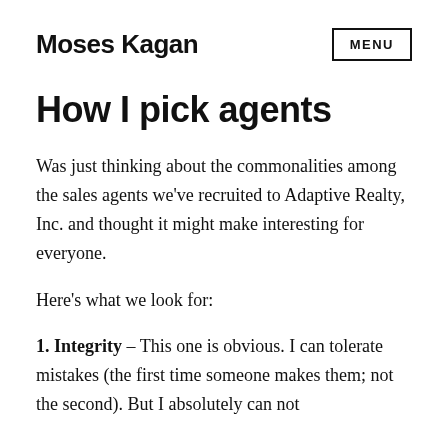Moses Kagan
How I pick agents
Was just thinking about the commonalities among the sales agents we've recruited to Adaptive Realty, Inc. and thought it might make interesting for everyone.
Here's what we look for:
1. Integrity – This one is obvious. I can tolerate mistakes (the first time someone makes them; not the second). But I absolutely can not